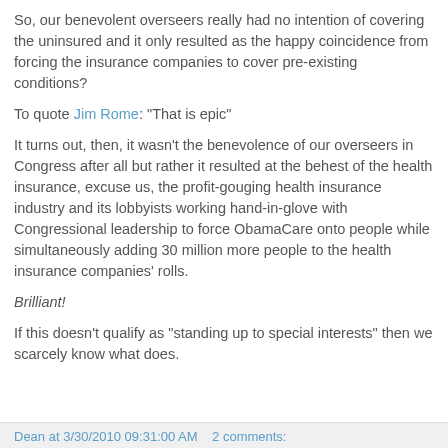So, our benevolent overseers really had no intention of covering the uninsured and it only resulted as the happy coincidence from forcing the insurance companies to cover pre-existing conditions?
To quote Jim Rome: "That is epic"
It turns out, then, it wasn't the benevolence of our overseers in Congress after all but rather it resulted at the behest of the health insurance, excuse us, the profit-gouging health insurance industry and its lobbyists working hand-in-glove with Congressional leadership to force ObamaCare onto people while simultaneously adding 30 million more people to the health insurance companies' rolls.
Brilliant!
If this doesn't qualify as "standing up to special interests" then we scarcely know what does.
Dean at 3/30/2010 09:31:00 AM    2 comments: